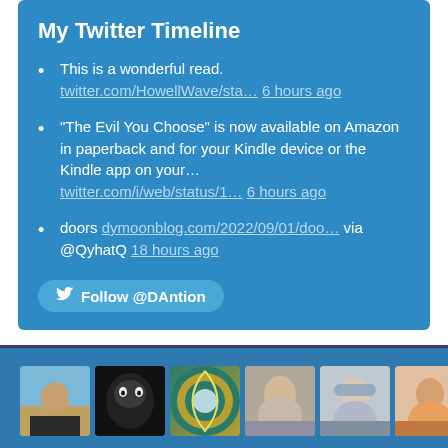My Twitter Timeline
This is a wonderful read. twitter.com/HowellWave/sta... 6 hours ago
“The Evil You Choose” is now available on Amazon in paperback and for your Kindle device or the Kindle app on your... twitter.com/i/web/status/1... 6 hours ago
doors dymoonblog.com/2022/09/01/doo... via @QyhatQ 18 hours ago
Follow @DAntion
[Figure (photo): Row of six small profile photo thumbnails in a blue-background section at the bottom of the page.]